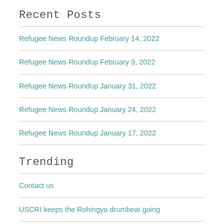Recent Posts
Refugee News Roundup February 14, 2022
Refugee News Roundup February 9, 2022
Refugee News Roundup January 31, 2022
Refugee News Roundup January 24, 2022
Refugee News Roundup January 17, 2022
Trending
Contact us
USCRI keeps the Rohingya drumbeat going
Will our voices be drowned by big 'leftist' money behind Obama and no-borders movement?